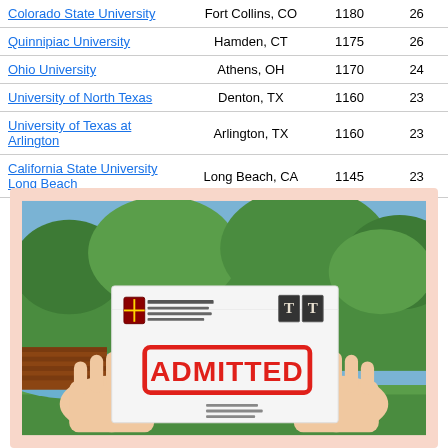| Colorado State University | Fort Collins, CO | 1180 | 26 |
| Quinnipiac University | Hamden, CT | 1175 | 26 |
| Ohio University | Athens, OH | 1170 | 24 |
| University of North Texas | Denton, TX | 1160 | 23 |
| University of Texas at Arlington | Arlington, TX | 1160 | 23 |
| California State University Long Beach | Long Beach, CA | 1145 | 23 |
[Figure (photo): Person holding a white envelope with a Harvard Business School return address and an 'ADMITTED' stamp in large red letters. The envelope is held up outdoors with greenery in the background.]